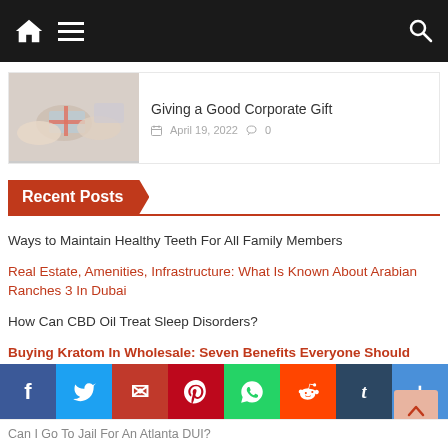Navigation bar with home, menu, and search icons
Giving a Good Corporate Gift
April 19, 2022  💬 0
Recent Posts
Ways to Maintain Healthy Teeth For All Family Members
Real Estate, Amenities, Infrastructure: What Is Known About Arabian Ranches 3 In Dubai
How Can CBD Oil Treat Sleep Disorders?
Buying Kratom In Wholesale: Seven Benefits Everyone Should Know About
Benefits Of Ordering Cake Online Through Online Order Forms
Can I Go To Jail For An Atlanta DUI?